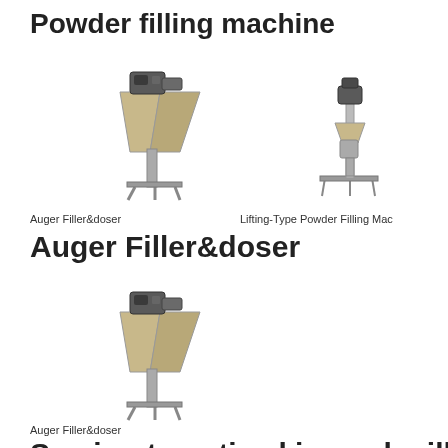Powder filling machine
[Figure (illustration): Auger Filler and doser machine - industrial powder filling equipment with hopper and auger mechanism]
[Figure (illustration): Lifting-Type Powder Filling Machine - tall vertical powder filling machine with stand]
Auger Filler&doser
Lifting-Type Powder Filling Mac...
Auger Filler&doser
[Figure (illustration): Auger Filler and doser machine - same industrial powder filling equipment with hopper and auger mechanism]
Auger Filler&doser
Semi-automatic skimmed milk powder f...